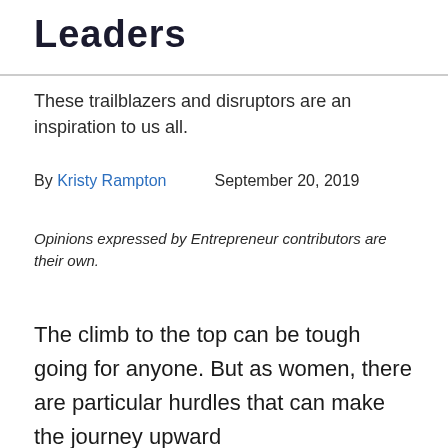Leaders
These trailblazers and disruptors are an inspiration to us all.
By Kristy Rampton    September 20, 2019
Opinions expressed by Entrepreneur contributors are their own.
The climb to the top can be tough going for anyone. But as women, there are particular hurdles that can make the journey upward